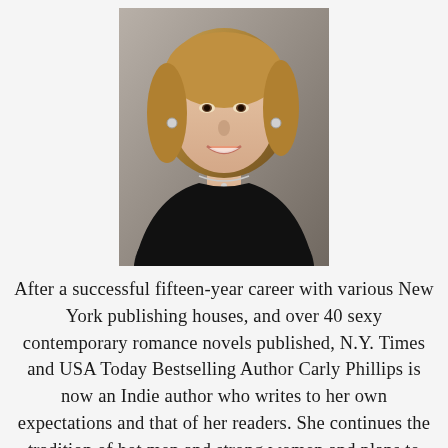[Figure (photo): Professional headshot of Carly Phillips, a woman with shoulder-length blonde-brown hair, wearing a black top and silver necklace, smiling, against a neutral background.]
After a successful fifteen-year career with various New York publishing houses, and over 40 sexy contemporary romance novels published, N.Y. Times and USA Today Bestselling Author Carly Phillips is now an Indie author who writes to her own expectations and that of her readers. She continues the tradition of hot men and strong women and plans to publish many more sizzling stories. Exclusively in Readers and Writers with her fans...